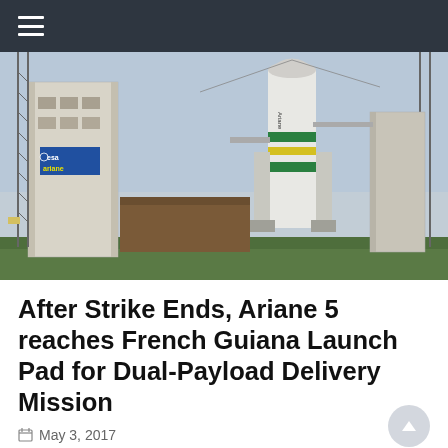≡
[Figure (photo): Ariane 5 rocket on the launch pad at the Guiana Space Centre, with ESA/Ariane branding visible on the white service tower structure. The rocket stands tall with its white fairing and green/yellow bands visible, surrounded by metal launch structure towers against an overcast sky.]
After Strike Ends, Ariane 5 reaches French Guiana Launch Pad for Dual-Payload Delivery Mission
May 3, 2017
France's Ariane 5 rocket allegedly stands French Gui...